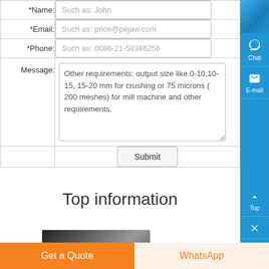| Field | Input |
| --- | --- |
| *Name: | Such as: John |
| *Email: | Such as: price@pejaw.com |
| *Phone: | Such as: 0086-21-58386256 |
| Message: | Other requirements: output size like 0-10,10-15, 15-20 mm for crushing or 75 microns ( 200 meshes) for mill machine and other requirements. |
|  | Submit |
Top information
[Figure (photo): Thumbnail photo at bottom left]
Get a Quote
WhatsApp